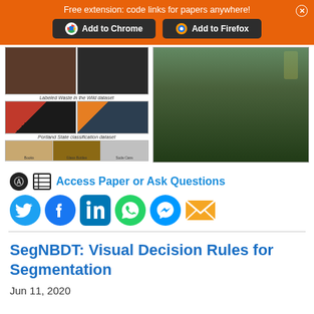Free extension: code links for papers anywhere! Add to Chrome  Add to Firefox
[Figure (photo): Collage of waste/recycling dataset images: labeled waste photos on left (wild dataset, Portland State classification dataset), recycling conveyor belt on right]
Access Paper or Ask Questions
[Figure (infographic): Social media sharing icons: Twitter, Facebook, LinkedIn, WhatsApp, Messenger, Email]
SegNBDT: Visual Decision Rules for Segmentation
Jun 11, 2020